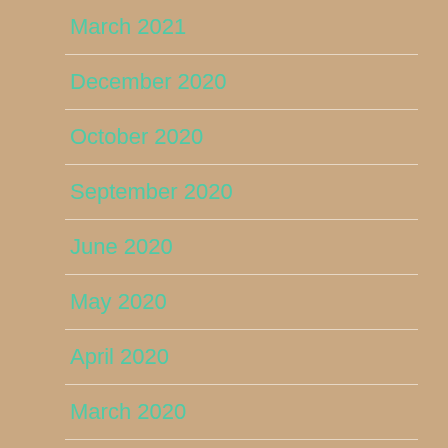March 2021
December 2020
October 2020
September 2020
June 2020
May 2020
April 2020
March 2020
January 2020